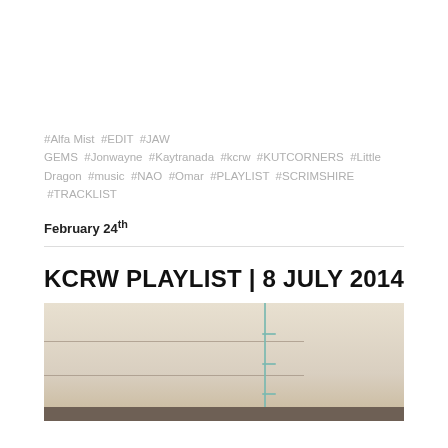#Alfa Mist #EDIT #JAW GEMS #Jonwayne #Kaytranada #kcrw #KUTCORNERS #Little Dragon #music #NAO #Omar #PLAYLIST #SCRIMSHIRE #TRACKLIST
February 24th
KCRW PLAYLIST | 8 JULY 2014
[Figure (photo): A photo showing shelves or rails against a light-colored wall, with a vertical teal/blue pole or rod in the center, and a dark horizontal base at the bottom.]